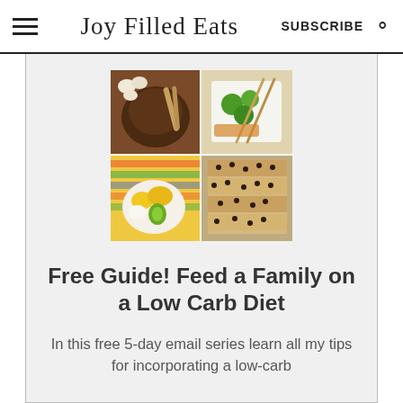Joy Filled Eats — SUBSCRIBE
[Figure (photo): Food collage with four images: chocolate/grain bowl with wooden spoon, stir-fry with broccoli in white dish, corn/avocado bowl on colorful mat, chocolate chip bars/squares]
Free Guide! Feed a Family on a Low Carb Diet
In this free 5-day email series learn all my tips for incorporating a low-carb